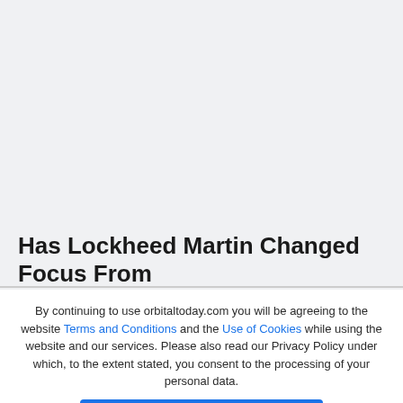Has Lockheed Martin Changed Focus From
By continuing to use orbitaltoday.com you will be agreeing to the website Terms and Conditions and the Use of Cookies while using the website and our services. Please also read our Privacy Policy under which, to the extent stated, you consent to the processing of your personal data.
Accept